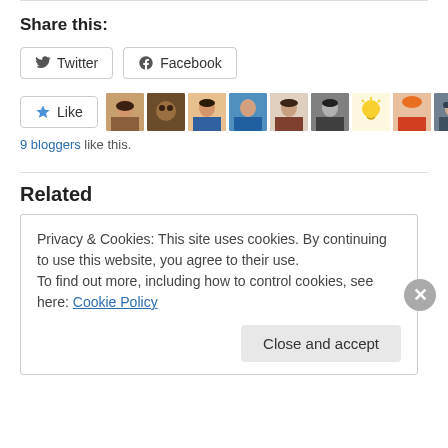Share this:
Twitter  Facebook
Like  9 bloggers like this.
Related
Privacy & Cookies: This site uses cookies. By continuing to use this website, you agree to their use.
To find out more, including how to control cookies, see here: Cookie Policy
Close and accept